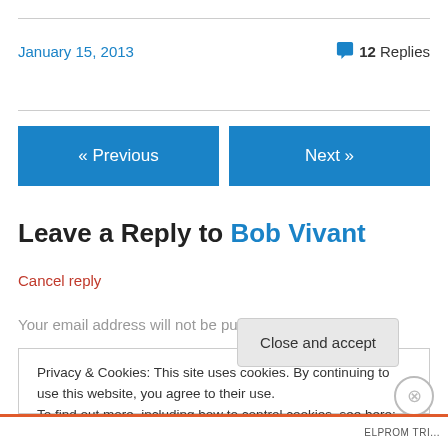January 15, 2013
💬 12 Replies
« Previous
Next »
Leave a Reply to Bob Vivant
Cancel reply
Your email address will not be published. Required fields
Privacy & Cookies: This site uses cookies. By continuing to use this website, you agree to their use.
To find out more, including how to control cookies, see here: Cookie Policy
Close and accept